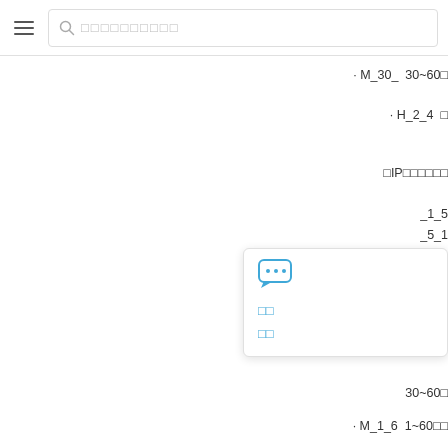Search bar with hamburger menu icon and placeholder text
· M_30_  30~60□
· H_2_4  □
□IP□□□□□
_1_5  _5_1  0□□  _10_  ·20□
[Figure (screenshot): Floating popup card with chat bubble icon (blue dots), blue text labels '□□ □□', and partially visible list text]
· M_20_  ·300□  _30_
30~60□
· M_1_6  1~60□□
· H_2_4  □